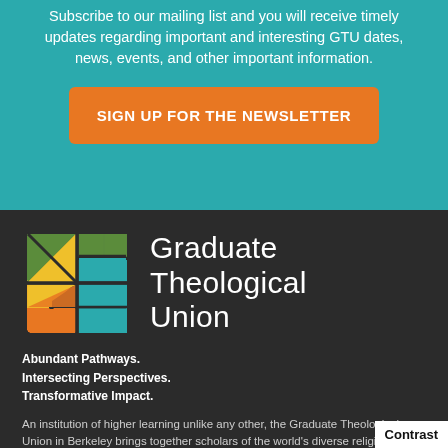Subscribe to our mailing list and you will receive timely updates regarding important and interesting GTU dates, news, events, and other important information.
SIGN UP FOR THE NEWSLETTER
[Figure (logo): Graduate Theological Union logo — a square mosaic of triangular and rectangular shapes in green, yellow, orange, and teal colors]
Graduate Theological Union
Abundant Pathways.
Intersecting Perspectives.
Transformative Impact.
An institution of higher learning unlike any other, the Graduate Theological Union in Berkeley brings together scholars of the world's diverse religions and w... traditions to advance new knowledge, share inspiration, and collaborate on